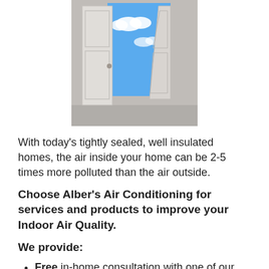[Figure (photo): An open white door with a bright blue sky and clouds visible through the opening, set against a grey wall.]
With today's tightly sealed, well insulated homes, the air inside your home can be 2-5 times more polluted than the air outside.
Choose Alber's Air Conditioning for services and products to improve your Indoor Air Quality.
We provide:
Free in-home consultation with one of our HVAC specialists.
Air Filtration Products - Remove contaminants such as pollen, mold and pet dander that aggravate allergies.
Humidifiers - Remove and control humidity for you and your family.